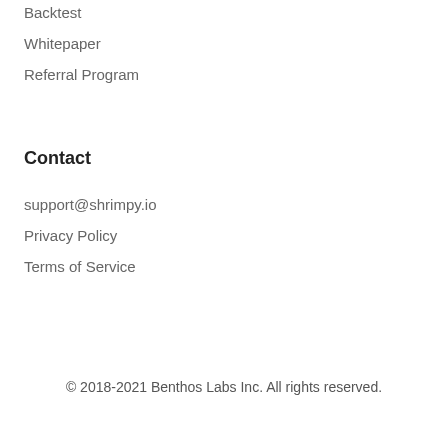Backtest
Whitepaper
Referral Program
Contact
support@shrimpy.io
Privacy Policy
Terms of Service
© 2018-2021 Benthos Labs Inc. All rights reserved.